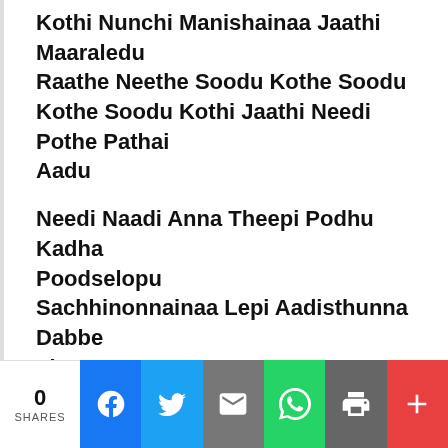Kothi Nunchi Manishainaa Jaathi Maaraledu
Raathe Neethe Soodu Kothe Soodu
Kothe Soodu Kothi Jaathi Needi Pothe Pathai Aadu
Needi Naadi Anna Theepi Podhu Kadha Poodselopu
Sachhinonnainaa Lepi Aadisthunna Dabbe Thopu
Mandhu Baabulantha Ganthulesthe Lungiloode
Aadaalla Edupule Elugetthi Paade
Suttaalendarunnaa Sivara
Nee Thodevadu Raadule
Medamiddelennunna
Naa Sata Aaru Adugule
0 SHARES  [Facebook] [Twitter] [Email] [WhatsApp] [Print] [More]